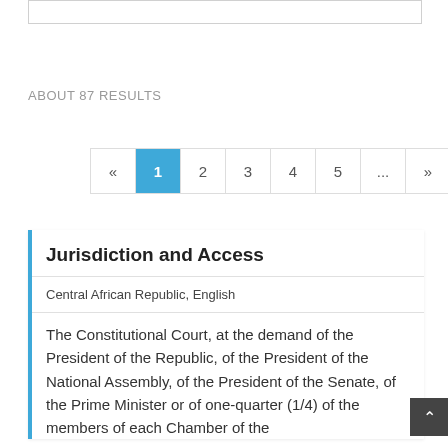ABOUT 87 RESULTS
« 1 2 3 4 5 ... »
Jurisdiction and Access
Central African Republic, English
The Constitutional Court, at the demand of the President of the Republic, of the President of the National Assembly, of the President of the Senate, of the Prime Minister or of one-quarter (1/4) of the members of each Chamber of the